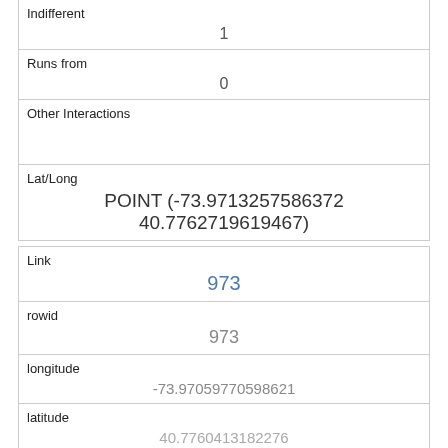| Indifferent | 1 |
| Runs from | 0 |
| Other Interactions |  |
| Lat/Long | POINT (-73.9713257586372 40.7762719619467) |
| Link | 973 |
| rowid | 973 |
| longitude | -73.97059770598621 |
| latitude | 40.7760413182276 |
| Unique Squirrel ID | 13E-AM-1017-09 |
| Hectare |  |